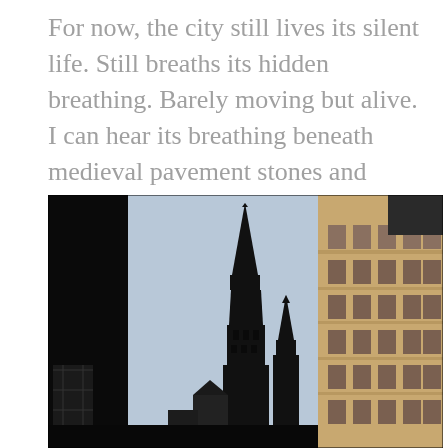For now, the city still lives its silent life. Still breaths its hidden breathing. Barely moving but alive. I can hear its breathing beneath medieval pavement stones and rundown building fronts.
[Figure (photo): A street-level photograph of a medieval European city. In the center rises a tall Gothic church spire silhouetted against a pale blue sky. On the right, a sunlit stone building facade with rows of windows. On the left, dark shadowed building fronts. The overall image is high contrast with deep shadows.]